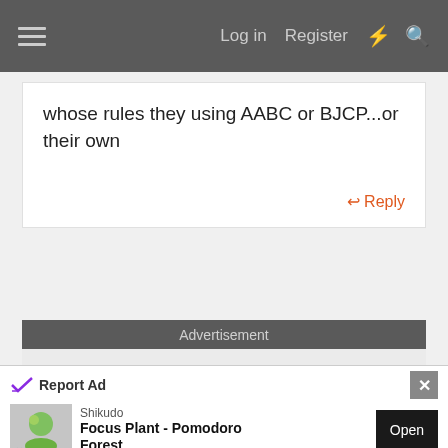Log in   Register
whose rules they using AABC or BJCP...or their own
Reply
Advertisement
[Figure (screenshot): Gray advertisement placeholder area]
Report Ad
Shikudo
Focus Plant - Pomodoro Forest
Open